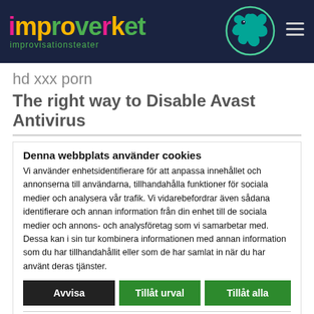[Figure (logo): Improverket improvisationsteater logo with colorful text and gecko illustration on dark navy background]
hd xxx porn
The right way to Disable Avast Antivirus
Denna webbplats använder cookies
Vi använder enhetsidentifierare för att anpassa innehållet och annonserna till användarna, tillhandahålla funktioner för sociala medier och analysera vår trafik. Vi vidarebefordrar även sådana identifierare och annan information från din enhet till de sociala medier och annons- och analysföretag som vi samarbetar med. Dessa kan i sin tur kombinera informationen med annan information som du har tillhandahållit eller som de har samlat in när du har använt deras tjänster.
Avvisa | Tillåt urval | Tillåt alla
Nödvändig  Inställningar  Statistik  Marknadsföring  Visa detaljer